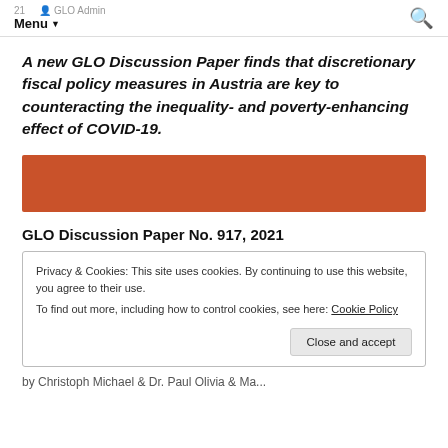21 GLO Admin Menu
A new GLO Discussion Paper finds that discretionary fiscal policy measures in Austria are key to counteracting the inequality- and poverty-enhancing effect of COVID-19.
[Figure (other): Orange/rust colored rectangular banner image]
GLO Discussion Paper No. 917, 2021
Privacy & Cookies: This site uses cookies. By continuing to use this website, you agree to their use. To find out more, including how to control cookies, see here: Cookie Policy Close and accept
by Christoph Michael & Dr. Paul Olivia & Ma...